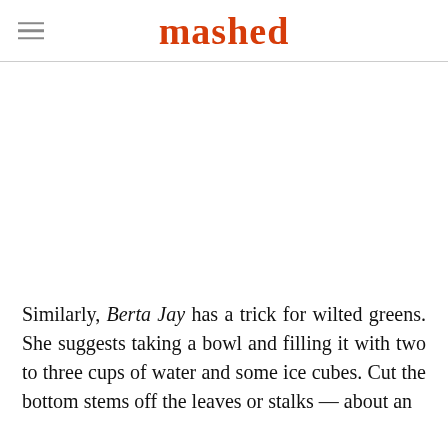mashed
[Figure (photo): Blank white image placeholder area below the header]
Similarly, Berta Jay has a trick for wilted greens. She suggests taking a bowl and filling it with two to three cups of water and some ice cubes. Cut the bottom stems off the leaves or stalks — about an inch...